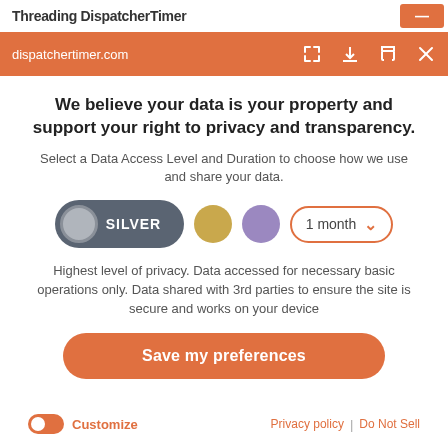Threading DispatcherTimer
dispatchertimer.com
We believe your data is your property and support your right to privacy and transparency.
Select a Data Access Level and Duration to choose how we use and share your data.
[Figure (infographic): Data access level selector showing: SILVER toggle pill (selected), gold circle, purple circle, and a '1 month' dropdown with orange border and chevron]
Highest level of privacy. Data accessed for necessary basic operations only. Data shared with 3rd parties to ensure the site is secure and works on your device
Save my preferences
Customize | Privacy policy | Do Not Sell